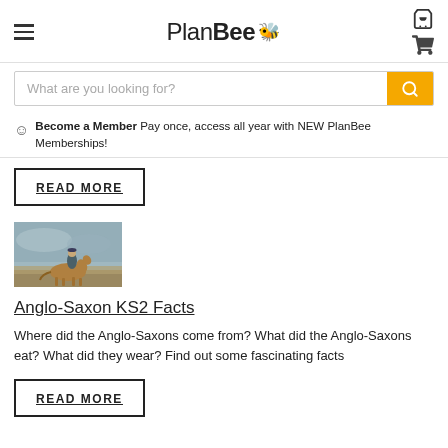PlanBee
What are you looking for?
Become a Member Pay once, access all year with NEW PlanBee Memberships!
READ MORE
[Figure (illustration): A person riding a brown horse across a misty landscape, painted in muted blue-green tones.]
Anglo-Saxon KS2 Facts
Where did the Anglo-Saxons come from? What did the Anglo-Saxons eat? What did they wear? Find out some fascinating facts
READ MORE